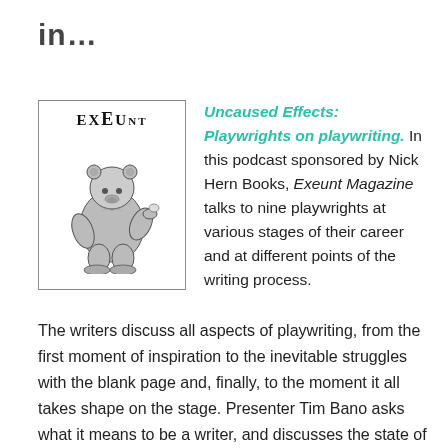in…
[Figure (illustration): Cover of Exeunt Magazine featuring the word EXEUNT in large serif letters and an illustration of a bear standing upright holding a small object, inside a rectangular border.]
Uncaused Effects: Playwrights on playwriting. In this podcast sponsored by Nick Hern Books, Exeunt Magazine talks to nine playwrights at various stages of their career and at different points of the writing process.
The writers discuss all aspects of playwriting, from the first moment of inspiration to the inevitable struggles with the blank page and, finally, to the moment it all takes shape on the stage. Presenter Tim Bano asks what it means to be a writer, and discusses the state of new writing in the UK.